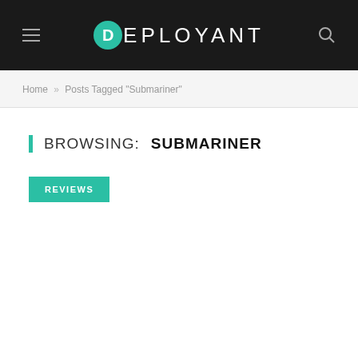DEPLOYANT
Home » Posts Tagged "Submariner"
BROWSING: SUBMARINER
REVIEWS